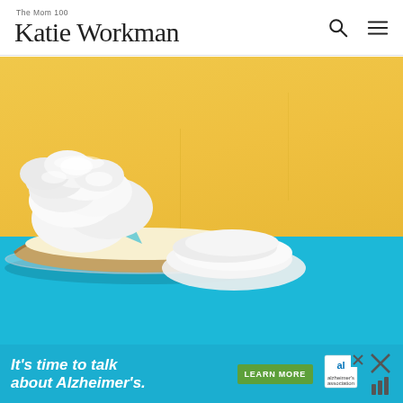The Mom 100 | Katie Workman
[Figure (photo): Food photography: a cream pie with whipped cream topping on a glass pie plate, sitting on a bright blue surface against a yellow wall background]
[Figure (other): Advertisement banner: 'It's time to talk about Alzheimer's.' with LEARN MORE button and Alzheimer's association logo]